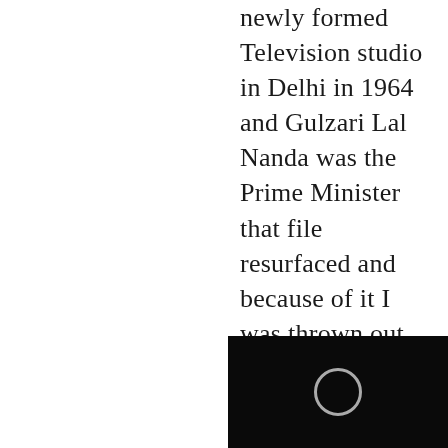newly formed Television studio in Delhi in 1964 and Gulzari Lal Nanda was the Prime Minister that file resurfaced and because of it I was thrown out of my job within a few months. I was taking a drama Workshop in Mysore when I received a telegram saying my job had been terminated. No other explanation was given.

In 1948 the Communist party took out a Peace procession in B[obscured]. Apart from the[obscured] [obscured]all the leading
[Figure (other): Black rectangular overlay in the bottom-right corner with a circular outline shape (play button or UI control) in the center]